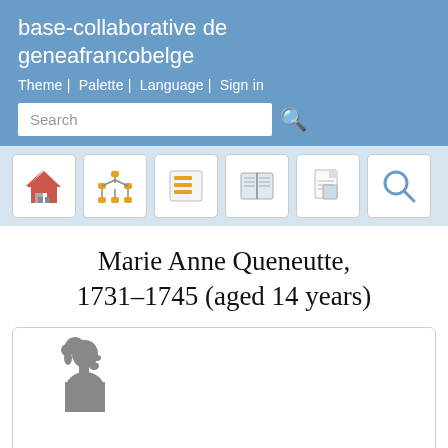base-collaborative de geneafrancobelge
Theme | Palette | Language | Sign in
Marie Anne Queneutte, 1731–1745 (aged 14 years)
[Figure (illustration): Female silhouette profile illustration inside a bordered card]